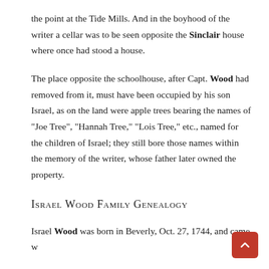the point at the Tide Mills. And in the boyhood of the writer a cellar was to be seen opposite the Sinclair house where once had stood a house.
The place opposite the schoolhouse, after Capt. Wood had removed from it, must have been occupied by his son Israel, as on the land were apple trees bearing the names of "Joe Tree", "Hannah Tree," "Lois Tree," etc., named for the children of Israel; they still bore those names within the memory of the writer, whose father later owned the property.
Israel Wood Family Genealogy
Israel Wood was born in Beverly, Oct. 27, 1744, and came w